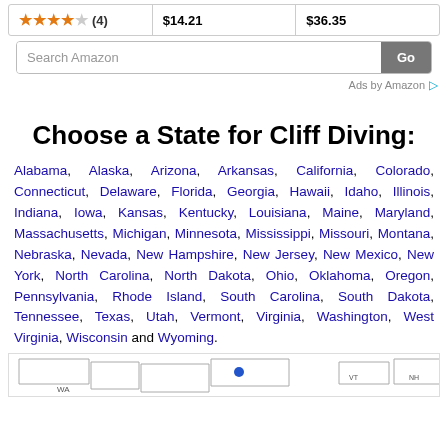| ★★★★☆ (4) | $14.21 | $36.35 |
[Figure (other): Amazon search bar with text field 'Search Amazon' and Go button]
Ads by Amazon ▷
Choose a State for Cliff Diving:
Alabama, Alaska, Arizona, Arkansas, California, Colorado, Connecticut, Delaware, Florida, Georgia, Hawaii, Idaho, Illinois, Indiana, Iowa, Kansas, Kentucky, Louisiana, Maine, Maryland, Massachusetts, Michigan, Minnesota, Mississippi, Missouri, Montana, Nebraska, Nevada, New Hampshire, New Jersey, New Mexico, New York, North Carolina, North Dakota, Ohio, Oklahoma, Oregon, Pennsylvania, Rhode Island, South Carolina, South Dakota, Tennessee, Texas, Utah, Vermont, Virginia, Washington, West Virginia, Wisconsin and Wyoming.
[Figure (map): Partial US map showing state outlines, cropped at bottom of page]